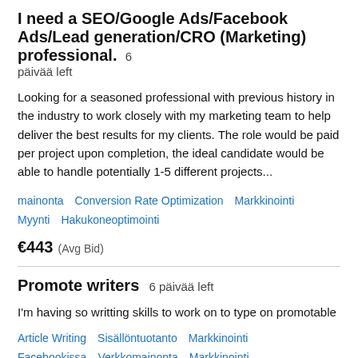I need a SEO/Google Ads/Facebook Ads/Lead generation/CRO (Marketing) professional.  6 päivää left
Looking for a seasoned professional with previous history in the industry to work closely with my marketing team to help deliver the best results for my clients. The role would be paid per project upon completion, the ideal candidate would be able to handle potentially 1-5 different projects...
mainonta   Conversion Rate Optimization   Markkinointi   Myynti   Hakukoneoptimointi
€443  (Avg Bid)
Promote writers  6 päivää left
I'm having so writting skills to work on to type on promotable
Article Writing   Sisällöntuotanto   Markkinointi   Facebookissa   Verkkomainonta   Markkinointi